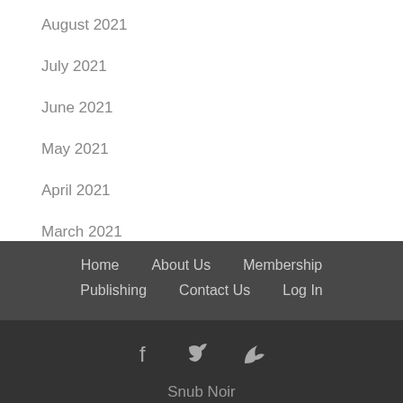August 2021
July 2021
June 2021
May 2021
April 2021
March 2021
Home   About Us   Membership   Publishing   Contact Us   Log In   Snub Noir